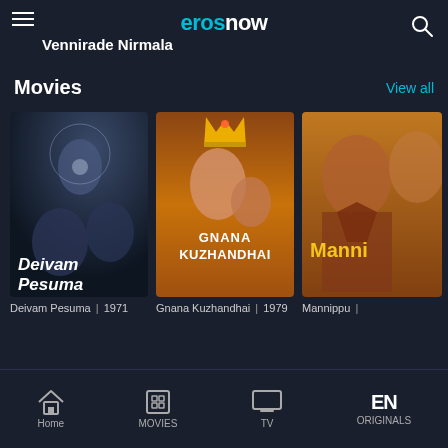eros now — Vennirade Nirmala
Movies
View all
[Figure (screenshot): Movie card for Deivam Pesuma, black and white film poster with cast overlay, italic bold title text]
Deivam Pesuma | 1971
[Figure (screenshot): Movie card for Gnana Kuzhandhai, colorful film poster with actress in golden crown and child]
Gnana Kuzhandhai | 1979
[Figure (screenshot): Movie card for Mannippu, yellow-toned film poster with actor]
Mannippu |
Home  MOVIES  TV  ORIGINALS